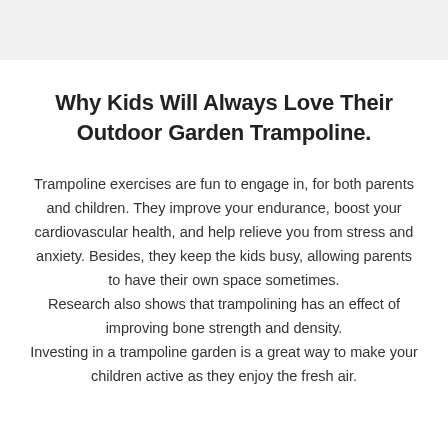[Figure (other): Gray header bar at the top of the page]
Why Kids Will Always Love Their Outdoor Garden Trampoline.
Trampoline exercises are fun to engage in, for both parents and children. They improve your endurance, boost your cardiovascular health, and help relieve you from stress and anxiety. Besides, they keep the kids busy, allowing parents to have their own space sometimes.
Research also shows that trampolining has an effect of improving bone strength and density.
Investing in a trampoline garden is a great way to make your children active as they enjoy the fresh air.